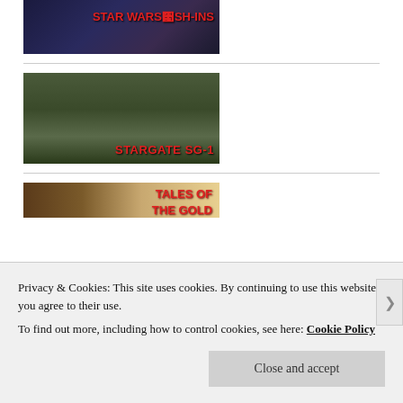[Figure (screenshot): Star Wars Cash-Ins thumbnail image with dark background and red bold text reading STAR WARS CASH-INS on the right side]
[Figure (screenshot): Stargate SG-1 thumbnail showing four military personnel in tactical gear with red bold text reading STARGATE SG-1]
[Figure (screenshot): Tales of the Gold thumbnail with tropical background and red bold text reading TALES OF THE GOLD]
Privacy & Cookies: This site uses cookies. By continuing to use this website, you agree to their use.
To find out more, including how to control cookies, see here: Cookie Policy
Close and accept